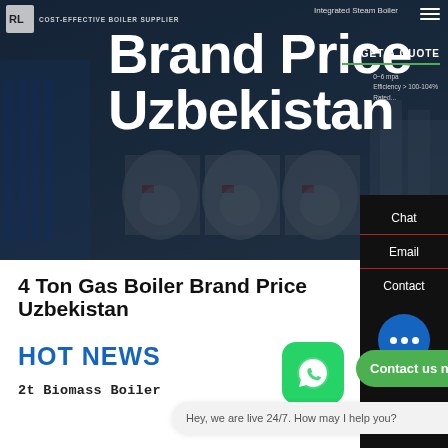[Figure (screenshot): Hero banner of boiler supplier website with dark industrial background showing multiple boilers, logo at top left reading COST-EFFECTIVE BOILER SUPPLIER, large white bold text reading Brand Price Uzbekistan, GET A QUOTE button on the right]
Brand Price Uzbekistan
4 Ton Gas Boiler Brand Price Uzbekistan
HOT NEWS
2t Biomass Boiler
Chat
Email
Contact
Hey, we are live 24/7. How may I help you?